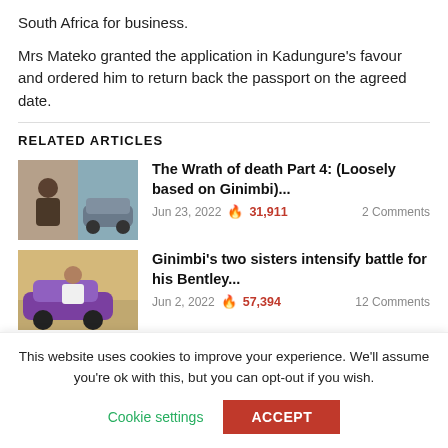South Africa for business.
Mrs Mateko granted the application in Kadungure's favour and ordered him to return back the passport on the agreed date.
RELATED ARTICLES
[Figure (photo): Thumbnail image for article about The Wrath of death Part 4]
The Wrath of death Part 4: (Loosely based on Ginimbi)...
Jun 23, 2022  🔥 31,911   2 Comments
[Figure (photo): Thumbnail image for article about Ginimbi's two sisters]
Ginimbi's two sisters intensify battle for his Bentley...
Jun 2, 2022  🔥 57,394   12 Comments
This website uses cookies to improve your experience. We'll assume you're ok with this, but you can opt-out if you wish.
Cookie settings   ACCEPT